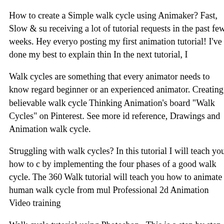How to create a Simple walk cycle using Animaker? Fast, Slow & su receiving a lot of tutorial requests in the past few weeks. Hey everyo posting my first animation tutorial! I've done my best to explain thin In the next tutorial, I
Walk cycles are something that every animator needs to know regard beginner or an experienced animator. Creating believable walk cycle Thinking Animation's board "Walk Cycles" on Pinterest. See more id reference, Drawings and Animation walk cycle.
Struggling with walk cycles? In this tutorial I will teach you how to c by implementing the four phases of a good walk cycle. The 360 Walk tutorial will teach you how to animate a human walk cycle from mul Professional 2d Animation Video training
Walk cycle tutorial using Photoshop . This is a step by step tutorial o animation with Adobe Photoshop, it´s in Spanish though . Hey every posting my first animation tutorial! I've done my best to explain thin In the next tutorial, I